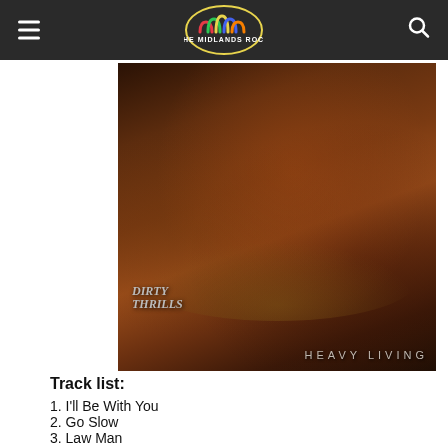The Midlands Rock
[Figure (photo): Album cover for Dirty Thrills 'Heavy Living'. Shows a group of people in dark, warm-toned lighting surrounded by fruit, with the band name 'Dirty Thrills' and album title 'Heavy Living' overlaid.]
Track list:
1. I'll Be With You
2. Go Slow
3. Law Man
4. Hanging Around